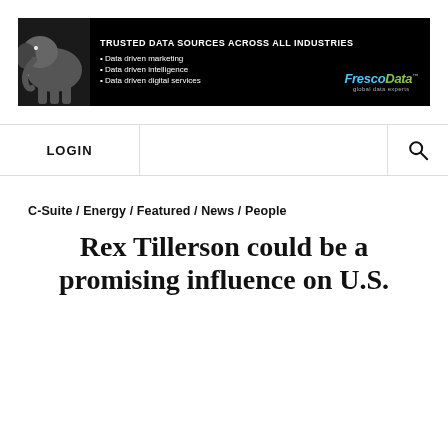[Figure (infographic): FrescoData banner advertisement on black background with elephant image. Headline: TRUSTED DATA SOURCES ACROSS ALL INDUSTRIES. Bullets: Data driven marketing, Data driven intelligence, Data driven digital services. FrescoData logo with tagline 'global data experts'.]
LOGIN
C-Suite / Energy / Featured / News / People
Rex Tillerson could be a promising influence on U.S.